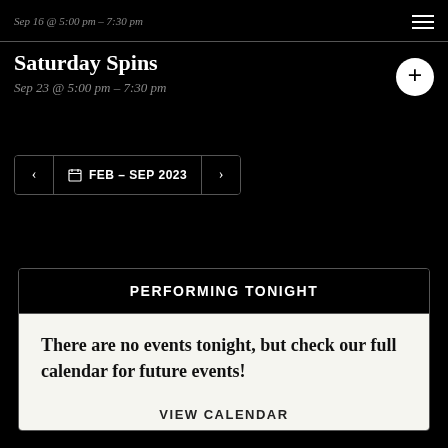Sep 16 @ 5:00 pm – 7:30 pm
Saturday Spins
Sep 23 @ 5:00 pm – 7:30 pm
FEB – SEP 2023
PERFORMING TONIGHT
There are no events tonight, but check our full calendar for future events!
VIEW CALENDAR